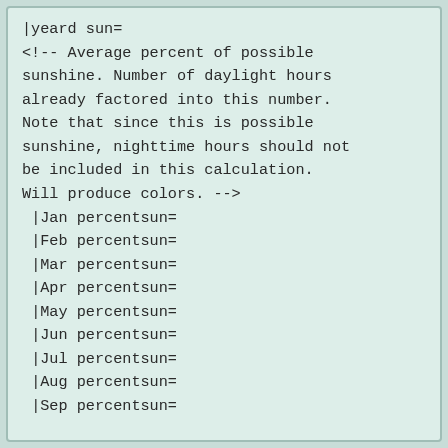|yeard sun=
<!-- Average percent of possible sunshine. Number of daylight hours already factored into this number. Note that since this is possible sunshine, nighttime hours should not be included in this calculation. Will produce colors. -->
 |Jan percentsun=
 |Feb percentsun=
 |Mar percentsun=
 |Apr percentsun=
 |May percentsun=
 |Jun percentsun=
 |Jul percentsun=
 |Aug percentsun=
 |Sep percentsun=